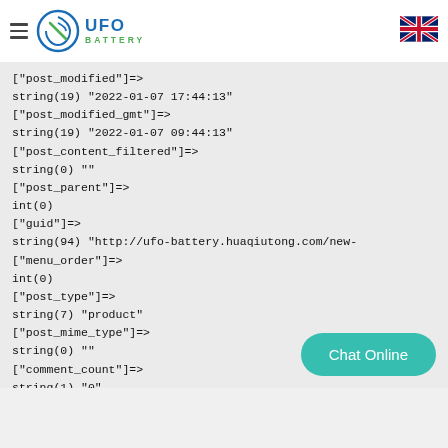UFO Battery
["post_modified"]=>
string(19) "2022-01-07 17:44:13"
["post_modified_gmt"]=>
string(19) "2022-01-07 09:44:13"
["post_content_filtered"]=>
string(0) ""
["post_parent"]=>
int(0)
["guid"]=>
string(94) "http://ufo-battery.huaqiutong.com/new-
["menu_order"]=>
int(0)
["post_type"]=>
string(7) "product"
["post_mime_type"]=>
string(0) ""
["comment_count"]=>
string(1) "0"